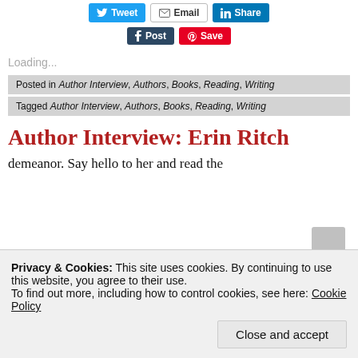[Figure (screenshot): Social sharing buttons: Tweet (Twitter, blue), Email (white/grey border), Share (LinkedIn, blue), Post (Tumblr, dark blue), Save (Pinterest, red)]
Loading...
Posted in Author Interview, Authors, Books, Reading, Writing
Tagged Author Interview, Authors, Books, Reading, Writing
Author Interview: Erin Ritch
demeanor. Say hello to her and read the
Privacy & Cookies: This site uses cookies. By continuing to use this website, you agree to their use. To find out more, including how to control cookies, see here: Cookie Policy
Close and accept